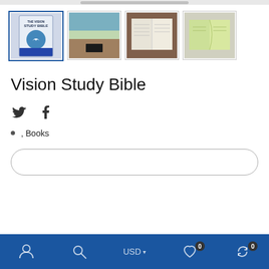[Figure (photo): Four product thumbnail images of the Vision Study Bible: (1) book cover with whale/waterfall graphic, (2) bible on wooden surface with greenery, (3) open bible on table, (4) open bible with green tinted pages]
Vision Study Bible
[Figure (other): Social media icons: Twitter bird and Facebook f]
, Books
[Figure (other): Add to cart button (rounded rectangle, empty)]
Bottom navigation bar with user icon, search icon, USD currency selector, wishlist (0), cart (0)